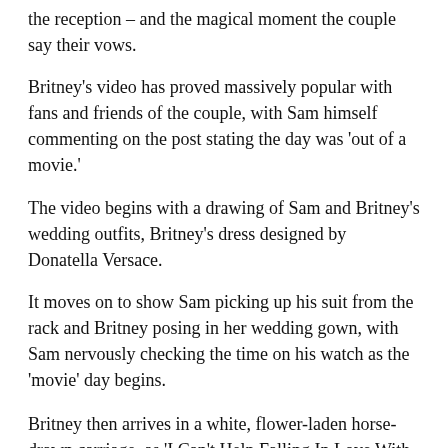the reception – and the magical moment the couple say their vows.
Britney's video has proved massively popular with fans and friends of the couple, with Sam himself commenting on the post stating the day was 'out of a movie.'
The video begins with a drawing of Sam and Britney's wedding outfits, Britney's dress designed by Donatella Versace.
It moves on to show Sam picking up his suit from the rack and Britney posing in her wedding gown, with Sam nervously checking the time on his watch as the 'movie' day begins.
Britney then arrives in a white, flower-laden horse-drawn carriage, as 'I Can't Help Falling In Love With You' plays in the background.